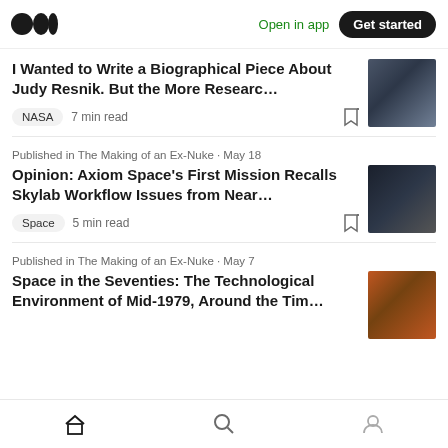Open in app | Get started
I Wanted to Write a Biographical Piece About Judy Resnik. But the More Researc…
NASA · 7 min read
Published in The Making of an Ex-Nuke · May 18
Opinion: Axiom Space's First Mission Recalls Skylab Workflow Issues from Near…
Space · 5 min read
Published in The Making of an Ex-Nuke · May 7
Space in the Seventies: The Technological Environment of Mid-1979, Around the Tim…
Home · Search · Profile